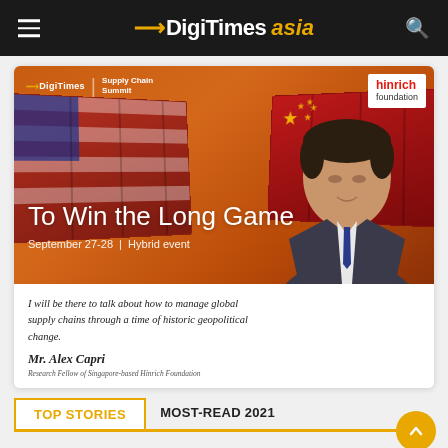DIGITIMES asia
[Figure (advertisement): DigiTimes Supply Chain Summit advertisement featuring 'To Win the Long Game' event on September 27-28 as a Hybrid event, co-branded with hinrich foundation. Shows shipping containers with US and China flags and a portrait of Mr. Alex Capri. Quote: 'I will be there to talk about how to manage global supply chains through a time of historic geopolitical change.' - Mr. Alex Capri, Research Fellow of Singapore-based Hinrich Foundation.]
I will be there to talk about how to manage global supply chains through a time of historic geopolitical change.
Mr. Alex Capri
Research Fellow of Singapore-based Hinrich Foundation
TOP STORIES
MOST-READ 2021